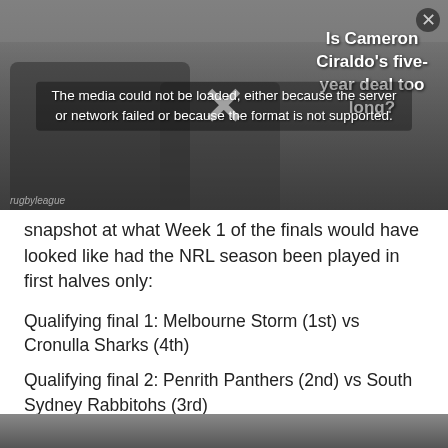[Figure (screenshot): Video player overlay showing two men seated on a couch in background. Overlay error message reads: 'The media could not be loaded, either because the server or network failed or because the format is not supported.' Sidebar text: 'Is Cameron Ciraldo's five-year deal too long?' Large X mark in center. Close button top right.]
snapshot at what Week 1 of the finals would have looked like had the NRL season been played in first halves only:
Qualifying final 1: Melbourne Storm (1st) vs Cronulla Sharks (4th)
Qualifying final 2: Penrith Panthers (2nd) vs South Sydney Rabbitohs (3rd)
Elimination final 1: Gold Coast Titans (5th) vs Parramatta Eels (8th)
Elimination final 2: Sydney Roosters (6th) vs Canberra Raiders (7th)
[Figure (photo): Bottom strip showing a partial photo of a person.]